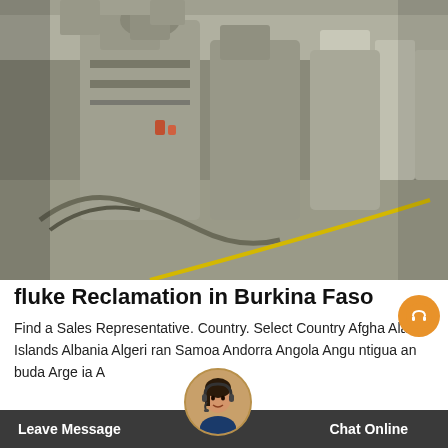[Figure (photo): Industrial factory interior showing large grey milling/processing machines on a concrete floor with a yellow diagonal line painted on the floor. High ceiling with ducts and equipment visible.]
fluke Reclamation in Burkina Faso
Find a Sales Representative. Country. Select Country Afghanistan Aland Islands Albania Algeria American Samoa Andorra Angola Anguilla Antigua and Barbuda Argentina Armenia Australia Austria Azerbaijan Bahrain Bangladesh Barbados Belarus Belgium Belize Benin Bermuda Bhutan Bolivia Bosnia and Herzegovina Botswana Brazil Brunei Bulgaria Burkina Faso Burundi Cambodia Cameroon Canada Cape Verde Cayman Islands Central African Republic Chad Chile China Colombia Comoros Congo Costa Rica Cote d'Ivoire Croatia Cuba Cyprus Czech Republic Denmark Djibouti Dominica Dominican Republic Ecuador Egypt El Salvador Equatorial Guinea Eritrea Estonia Ethiopia Falkland Islands Faroe Islands Fiji Finland France French Guiana French Polynesia Gabon Gambia Georgia Germany Ghana Gibraltar Greece Greenland Grenada Guadeloupe Guam Guatemala Guinea Guinea-Bissau Guyana Haiti Honduras Hong Kong Hungary Iceland India Indonesia Iran Iraq Ireland Isle of Man Israel Italy Jamaica Japan Jordan Kazakhstan Kenya Kiribati Kuwait Kyrgyzstan Laos Latvia Lebanon Lesotho Liberia Libya Liechtenstein Lithuania Luxembourg Macao Macedonia Madagascar Malawi Malaysia Maldives Mali Malta Marshall Islands Martinique Mauritania Mauritius Mexico Micronesia Moldova Monaco Mongolia Montenegro Montserrat Morocco Mozambique Myanmar Namibia Nauru Nepal Netherlands New Caledonia New Zealand Nicaragua Niger Nigeria Norway Oman Pakistan Palau Palestinian Territory Panama Papua New Guinea Paraguay Peru Philippines Poland Portugal Puerto Rico Qatar Romania Russia Rwanda Saint Kitts and Nevis Saint Lucia Saint Vincent and the Grenadines Samoa San Marino Saudi Arabia Senegal Serbia Seychelles Sierra Leone Singapore Slovakia Slovenia Solomon Islands Somalia South Africa South Korea Spain Sri Lanka Sudan Suriname Swaziland Sweden Switzerland Syria Taiwan Tajikistan Tanzania Thailand Timor-Leste Togo Tonga Trinidad and Tobago Tunisia Turkey Turkmenistan Tuvalu Uganda Ukraine United Arab Emirates United Kingdom United States Uruguay Uzbekistan Vanuatu Venezuela Vietnam Yemen Zambia Zimbabwe